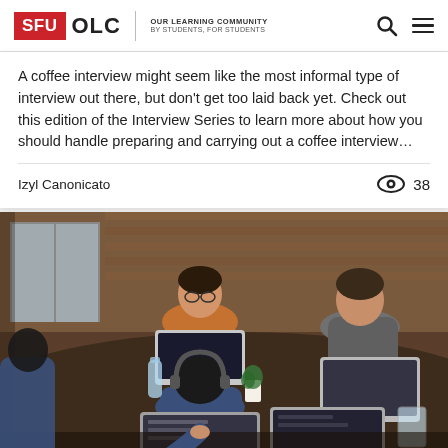SFU OLC | OUR LEARNING COMMUNITY BY STUDENTS, FOR STUDENTS
A coffee interview might seem like the most informal type of interview out there, but don't get too laid back yet. Check out this edition of the Interview Series to learn more about how you should handle preparing and carrying out a coffee interview…
Izyl Canonicato   👁 38
[Figure (photo): Group of students working on laptops at a table in a casual setting, viewed from above/behind. One person with headphones sits at center-bottom, others around a table with laptops, a water bottle, and a small plant. Warm wood-toned interior.]